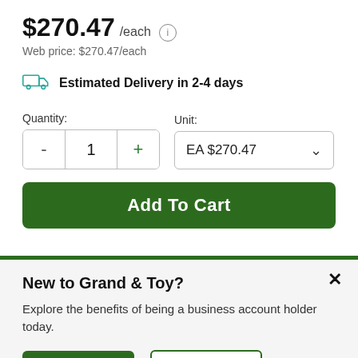$270.47 /each
Web price: $270.47/each
Estimated Delivery in 2-4 days
Quantity: 1  Unit: EA $270.47
Add To Cart
New to Grand & Toy?
Explore the benefits of being a business account holder today.
Sign Up
Sign In